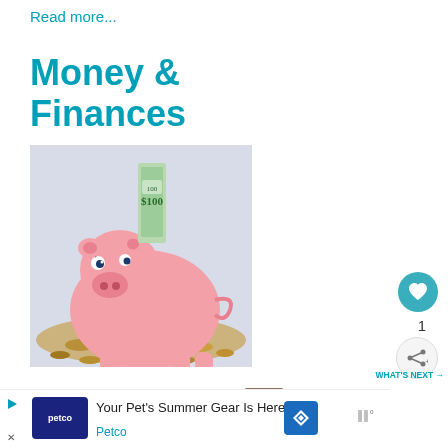Read more...
Money & Finances
[Figure (photo): A pink piggy bank with a $100 bill inserted in the top slot, sitting on a pile of coins]
[Figure (infographic): Heart/like button (teal circle with heart icon), count of 1, and share button below]
1
WHAT'S NEXT → 7 Life Skills to Teach the Ki...
Your Pet's Summer Gear Is Here Petco